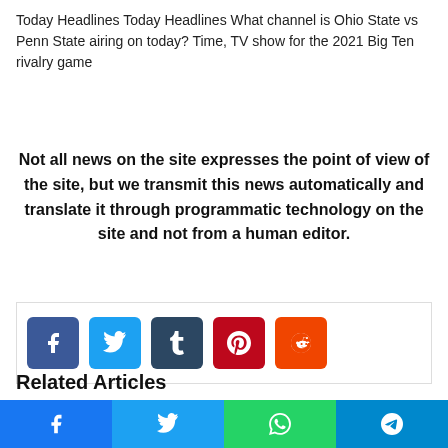Today Headlines Today Headlines What channel is Ohio State vs Penn State airing on today? Time, TV show for the 2021 Big Ten rivalry game
Not all news on the site expresses the point of view of the site, but we transmit this news automatically and translate it through programmatic technology on the site and not from a human editor.
[Figure (other): Social share buttons: Facebook, Twitter, Tumblr, Pinterest, Reddit]
Related Articles
[Figure (other): Bottom sharing bar with Facebook, Twitter, WhatsApp, Telegram icons]